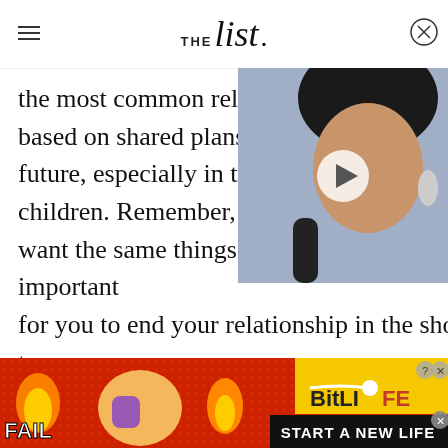THE list
the most common relationsh based on shared plans, values future, especially in terms of children. Remember, if you a want the same things in the long-term, it's important for you to end your relationship in the short-term.
[Figure (photo): Video thumbnail of a woman singing into a microphone with decorative earrings, with a play button overlay]
[Figure (screenshot): BitLife advertisement banner showing a fail emoji, flame graphics, and the text START A NEW LIFE]